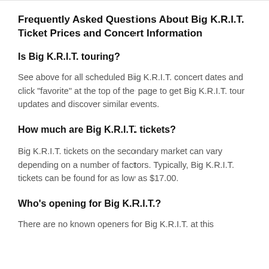Frequently Asked Questions About Big K.R.I.T. Ticket Prices and Concert Information
Is Big K.R.I.T. touring?
See above for all scheduled Big K.R.I.T. concert dates and click "favorite" at the top of the page to get Big K.R.I.T. tour updates and discover similar events.
How much are Big K.R.I.T. tickets?
Big K.R.I.T. tickets on the secondary market can vary depending on a number of factors. Typically, Big K.R.I.T. tickets can be found for as low as $17.00.
Who's opening for Big K.R.I.T.?
There are no known openers for Big K.R.I.T. at this